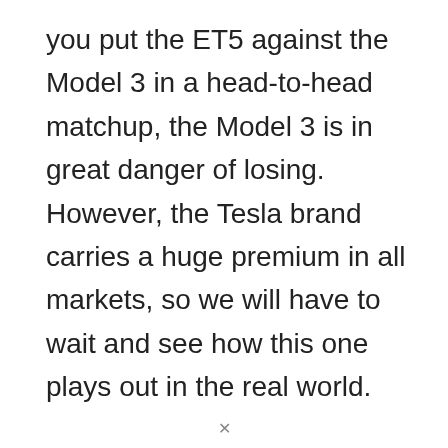you put the ET5 against the Model 3 in a head-to-head matchup, the Model 3 is in great danger of losing. However, the Tesla brand carries a huge premium in all markets, so we will have to wait and see how this one plays out in the real world.